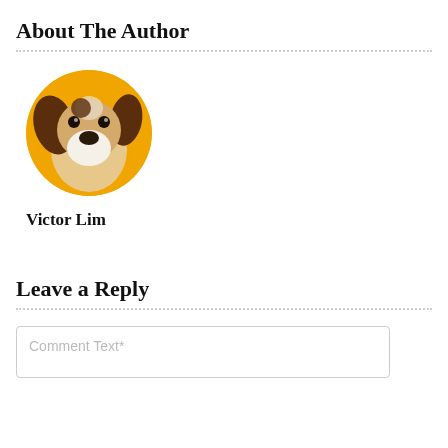About The Author
[Figure (photo): Circular avatar photo of a dog (beagle-type) against an orange background, used as the author profile image.]
Victor Lim
Leave a Reply
Comment Text*